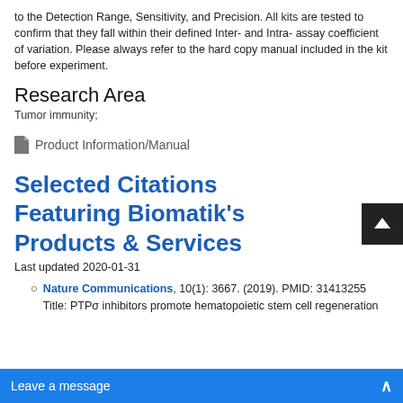to the Detection Range, Sensitivity, and Precision. All kits are tested to confirm that they fall within their defined Inter- and Intra- assay coefficient of variation. Please always refer to the hard copy manual included in the kit before experiment.
Research Area
Tumor immunity;
Product Information/Manual
Selected Citations Featuring Biomatik's Products & Services
Last updated 2020-01-31
Nature Communications, 10(1): 3667. (2019). PMID: 31413255
Title: PTPσ inhibitors promote hematopoietic stem cell regeneration